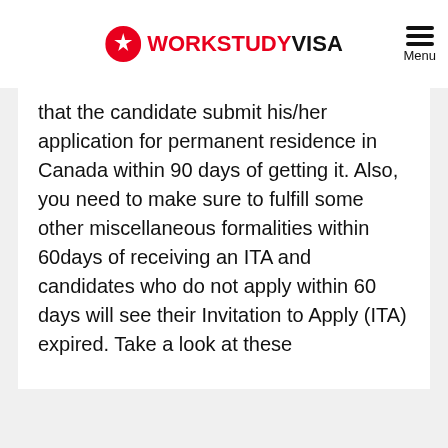WORKSTUDY VISA
that the candidate submit his/her application for permanent residence in Canada within 90 days of getting it. Also, you need to make sure to fulfill some other miscellaneous formalities within 60days of receiving an ITA and candidates who do not apply within 60 days will see their Invitation to Apply (ITA) expired. Take a look at these